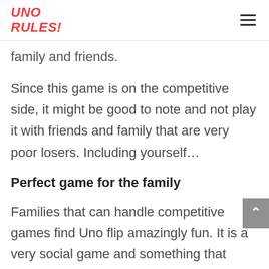UNO RULES!
family and friends.
Since this game is on the competitive side, it might be good to note and not play it with friends and family that are very poor losers. Including yourself...
Perfect game for the family
Families that can handle competitive games find Uno flip amazingly fun. It is a very social game and something that many can gather around. With the